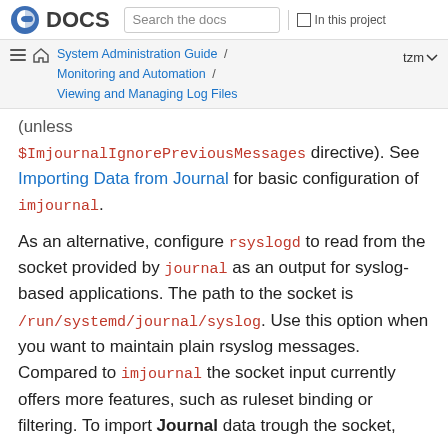Fedora DOCS | Search the docs | In this project
System Administration Guide / Monitoring and Automation / Viewing and Managing Log Files
(unless $ImjournalIgnorePreviousMessages directive). See Importing Data from Journal for basic configuration of imjournal.
As an alternative, configure rsyslogd to read from the socket provided by journal as an output for syslog-based applications. The path to the socket is /run/systemd/journal/syslog. Use this option when you want to maintain plain rsyslog messages. Compared to imjournal the socket input currently offers more features, such as ruleset binding or filtering. To import Journal data trough the socket,